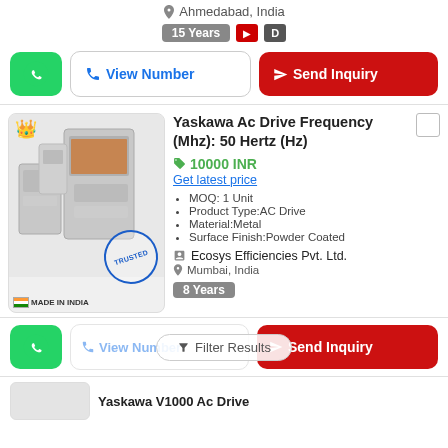Ahmedabad, India
15 Years
View Number
Send Inquiry
Yaskawa Ac Drive Frequency (Mhz): 50 Hertz (Hz)
10000 INR
Get latest price
MOQ: 1 Unit
Product Type:AC Drive
Material:Metal
Surface Finish:Powder Coated
Ecosys Efficiencies Pvt. Ltd.
Mumbai, India
8 Years
View Number
Send Inquiry
Filter Results
Yaskawa V1000 Ac Drive